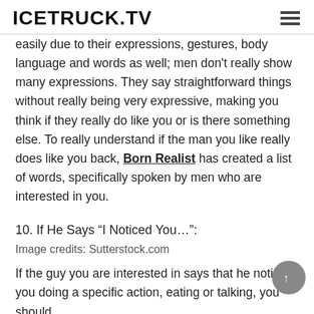ICETRUCK.TV
easily due to their expressions, gestures, body language and words as well; men don't really show many expressions. They say straightforward things without really being very expressive, making you think if they really do like you or is there something else. To really understand if the man you like really does like you back, Born Realist has created a list of words, specifically spoken by men who are interested in you.
10. If He Says “I Noticed You…”:
Image credits: Sutterstock.com
If the guy you are interested in says that he noticed you doing a specific action, eating or talking, you should